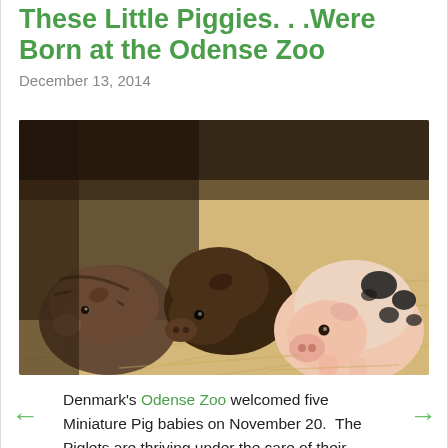These Little Piggies. . .Were Born at the Odense Zoo
December 13, 2014
[Figure (photo): Three baby miniature pigs on straw bedding. Two dark brown/black piglets on the left side, and one pink piglet with black spots on the right.]
Denmark's Odense Zoo welcomed five Miniature Pig babies on November 20.  The Piglets are thriving under the care of their mother, and are getting